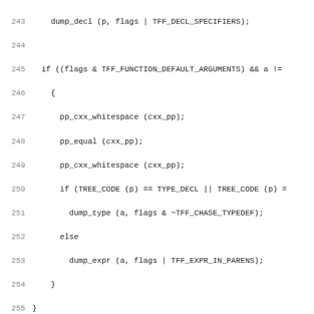Source code listing lines 243-274 showing C++ dump_template_bindings function
243:     dump_decl (p, flags | TFF_DECL_SPECIFIERS);
244: (blank)
245:   if ((flags & TFF_FUNCTION_DEFAULT_ARGUMENTS) && a !=
246:     {
247:       pp_cxx_whitespace (cxx_pp);
248:       pp_equal (cxx_pp);
249:       pp_cxx_whitespace (cxx_pp);
250:       if (TREE_CODE (p) == TYPE_DECL || TREE_CODE (p) =
251:         dump_type (a, flags & ~TFF_CHASE_TYPEDEF);
252:       else
253:         dump_expr (a, flags | TFF_EXPR_IN_PARENS);
254:     }
255: }
256: (blank)
257: /* Dump, under control of FLAGS, a template-parameter-l
258:    PARMS is a TREE_LIST of TREE_VEC of TREE_LIST and AR
259:    TREE_VEC.  */
260: (blank)
261: static void
262: dump_template_bindings (tree parms, tree args, VEC(tree
263: {
264:   bool need_semicolon = false;
265:   int i;
266:   tree t;
267: (blank)
268:   while (parms)
269:     {
270:       tree p = TREE_VALUE (parms);
271:       int lvl = TMPL_PARMS_DEPTH (parms);
272:       int arg_idx = 0;
273:       int i;
274:       tree lvl_args = NULL_TREE;